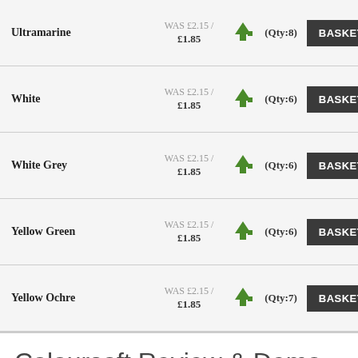| Product | Price |  | Qty | Action |
| --- | --- | --- | --- | --- |
| Ultramarine | WAS £2.15 / £1.85 | ↑→ | (Qty:8) | BASKET |
| White | WAS £2.15 / £1.85 | ↑→ | (Qty:6) | BASKET |
| White Grey | WAS £2.15 / £1.85 | ↑→ | (Qty:6) | BASKET |
| Yellow Green | WAS £2.15 / £1.85 | ↑→ | (Qty:6) | BASKET |
| Yellow Ochre | WAS £2.15 / £1.85 | ↑→ | (Qty:7) | BASKET |
Coloursoft Review & Demo
Coloursoft Review & Demo